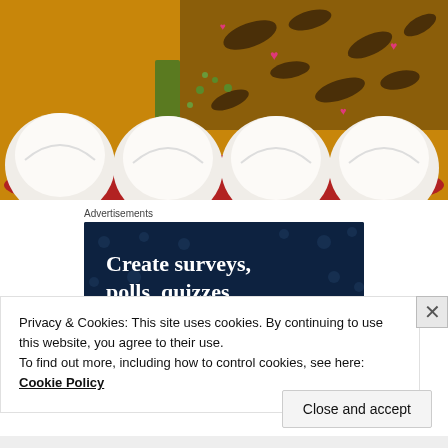[Figure (photo): Close-up photo of white bread rolls on a red plate alongside a decorated cake with pink heart-shaped candy decorations, green pistachio pieces, and chocolate leaf decorations on an orange/yellow background.]
Advertisements
[Figure (screenshot): Dark navy blue advertisement banner with polka dot pattern reading 'Create surveys, polls, quizzes, and forms']
Privacy & Cookies: This site uses cookies. By continuing to use this website, you agree to their use.
To find out more, including how to control cookies, see here:
Cookie Policy
Close and accept